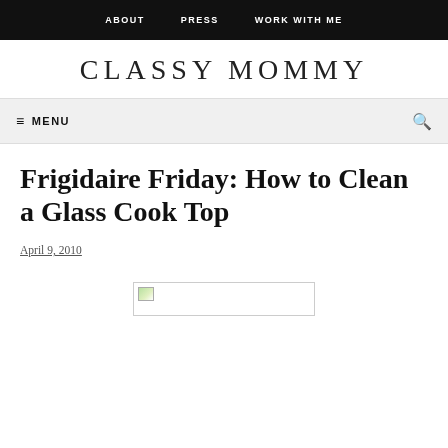ABOUT   PRESS   WORK WITH ME
CLASSY MOMMY
≡ MENU
Frigidaire Friday: How to Clean a Glass Cook Top
April 9, 2010
[Figure (photo): Placeholder image (broken image icon) for article about cleaning a glass cook top]